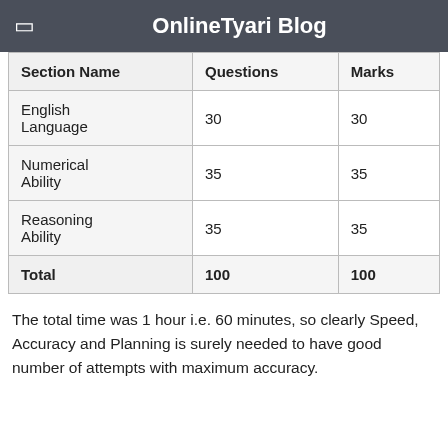OnlineTyari Blog
| Section Name | Questions | Marks |
| --- | --- | --- |
| English Language | 30 | 30 |
| Numerical Ability | 35 | 35 |
| Reasoning Ability | 35 | 35 |
| Total | 100 | 100 |
The total time was 1 hour i.e. 60 minutes, so clearly Speed, Accuracy and Planning is surely needed to have good number of attempts with maximum accuracy.